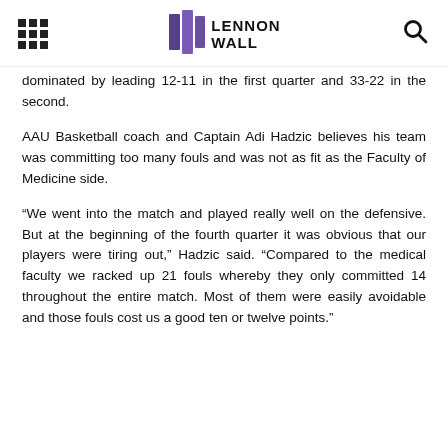Lennon Wall
dominated by leading 12-11 in the first quarter and 33-22 in the second.
AAU Basketball coach and Captain Adi Hadzic believes his team was committing too many fouls and was not as fit as the Faculty of Medicine side.
“We went into the match and played really well on the defensive. But at the beginning of the fourth quarter it was obvious that our players were tiring out,” Hadzic said. “Compared to the medical faculty we racked up 21 fouls whereby they only committed 14 throughout the entire match. Most of them were easily avoidable and those fouls cost us a good ten or twelve points.”